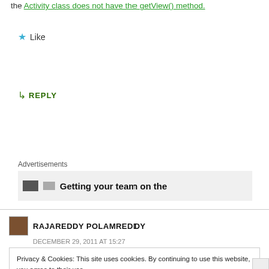the Activity class does not have the getView() method.
★ Like
↳ REPLY
Advertisements
[Figure (screenshot): Advertisement banner showing text 'Getting your team on the']
RAJAREDDY POLAMREDDY
DECEMBER 29, 2011 AT 15:27
Privacy & Cookies: This site uses cookies. By continuing to use this website, you agree to their use.
To find out more, including how to control cookies, see here: Cookie Policy
Close and accept